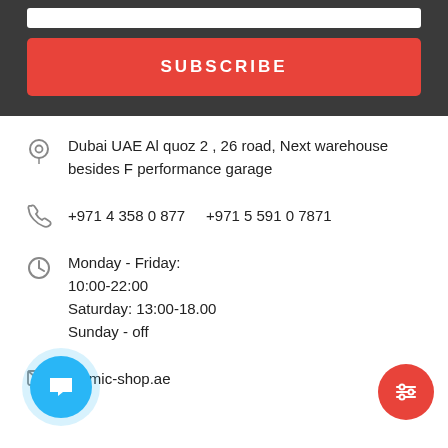[Figure (screenshot): Subscribe button on dark grey background with white search input above]
Dubai UAE Al quoz 2 , 26 road, Next warehouse besides F performance garage
+971 4 358 0 877    +971 5 591 0 7871
Monday - Friday:
10:00-22:00
Saturday: 13:00-18.00
Sunday - off
atomic-shop.ae